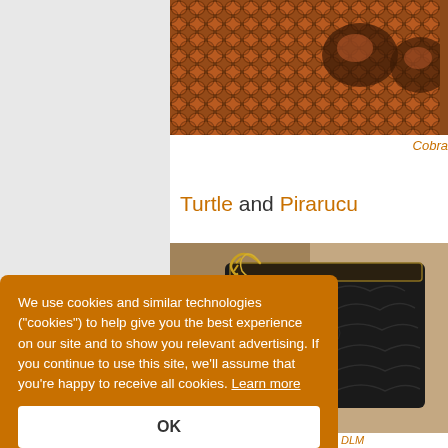[Figure (photo): Close-up photo of cobra snake skin showing hexagonal scale pattern in orange-brown and dark brown colors]
Cobra
Turtle and Pirarucu
[Figure (photo): Photo of a dark black handbag made of turtle skin with gold chain handle, seen in the DLM]
We use cookies and similar technologies ("cookies") to help give you the best experience on our site and to show you relevant advertising. If you continue to use this site, we'll assume that you're happy to receive all cookies. Learn more
Handbag of turtle skin seen in the DLM